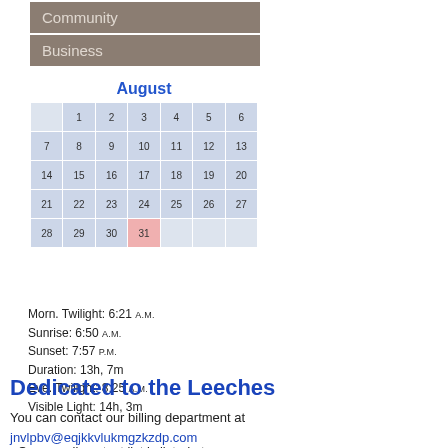Community
Business
[Figure (other): August calendar grid showing dates 1-31]
Morn. Twilight: 6:21 A.M.
Sunrise: 6:50 A.M.
Sunset: 7:57 P.M.
Duration: 13h, 7m
Eve. Twilight: 8:25 A.M.
Visible Light: 14h, 3m
Dedicated to the Leeches
You can contact our billing department at
jnvlpbv@eqjkkvlukmgzkzdp.com
Our e-mail contact list is listed at
cpxtrsybddsxmmwtgg
You can contact our billing department at